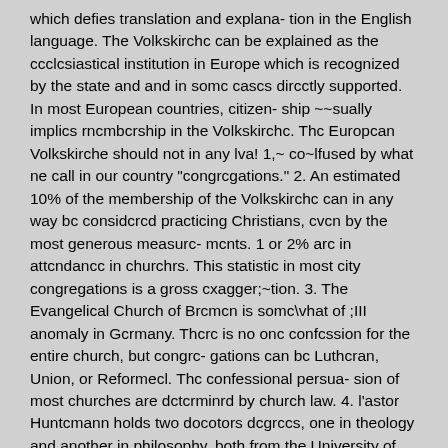which defies translation and explana- tion in the English language. The Volkskirchc can be explained as the ccclcsiastical institution in Europe which is recognized by the state and and in somc cascs dircctly supported. In most European countries, citizen- ship ~~sually implics rncmbcrship in the Volkskirchc. Thc Europcan Volkskirche should not in any lva! 1,~ co~lfused by what ne call in our country "congrcgations." 2. An estimated 10% of the membership of the Volkskirchc can in any way bc considcrcd practicing Christians, cvcn by the most generous measurc- mcnts. 1 or 2% arc in attcndancc in churchrs. This statistic in most city congregations is a gross cxagger;~tion. 3. The Evangelical Church of Brcmcn is somc\vhat of ;III anomaly in Gcrmany. Thcrc is no onc confcssion for the entire church, but congrc- gations can bc Luthcran, Union, or Reformecl. Thc confessional persua- sion of most churches are dctcrminrd by church law. 4. l'astor Huntcmann holds two docotors dcgrccs, one in theology and another in philosophy, both from the University of Basel, ;ln institution madc famous through its association with the late Karl Barth. Dr. Huntc- nlann is thc author of Angriff auf die Modcrne, Provoziertc Thcologie in tcchnischcr Welt, . . . und ~uns dic Hibel dnzu